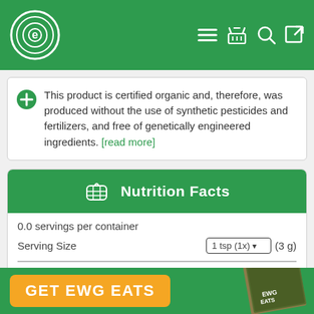EWG - header navigation bar with logo and icons
This product is certified organic and, therefore, was produced without the use of synthetic pesticides and fertilizers, and free of genetically engineered ingredients. [read more]
Nutrition Facts
0.0 servings per container
Serving Size   1 tsp (1x) ▾  (3 g)
Amount Per 1 tsp
GET EWG EATS